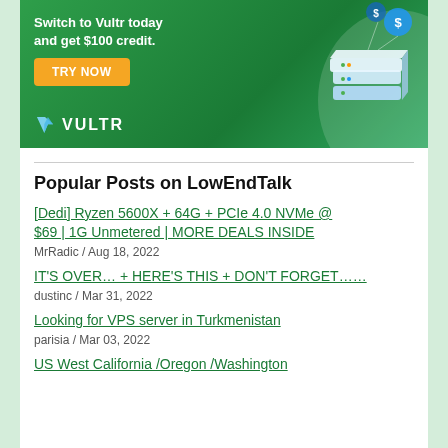[Figure (advertisement): Vultr advertisement banner with green background, text 'Switch to Vultr today and get $100 credit.', orange 'TRY NOW' button, Vultr logo, and cloud server graphic illustration on right side.]
Popular Posts on LowEndTalk
[Dedi] Ryzen 5600X + 64G + PCIe 4.0 NVMe @ $69 | 1G Unmetered | MORE DEALS INSIDE
MrRadic / Aug 18, 2022
IT'S OVER… + HERE'S THIS + DON'T FORGET……
dustinc / Mar 31, 2022
Looking for VPS server in Turkmenistan
parisia / Mar 03, 2022
US West California /Oregon /Washington